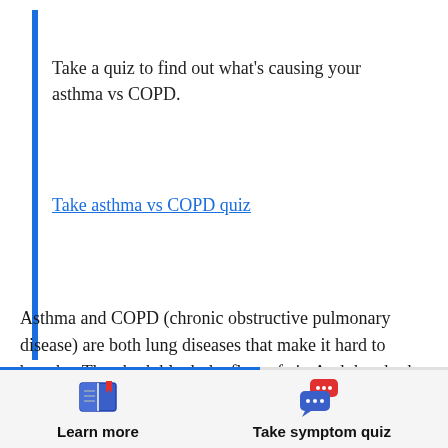Take a quiz to find out what's causing your asthma vs COPD.
Take asthma vs COPD quiz
Asthma and COPD (chronic obstructive pulmonary disease) are both lung diseases that make it hard to breathe. They both block the flow of air. And they both can cause shortness of breath, coughing, wheezing, tightness in your chest, and make you tired when you
Learn more  Take symptom quiz